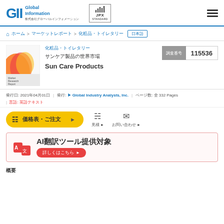GII Global Information 株式会社グローバルインフォメーション | JPX STANDARD
ホーム > マーケットレポート > 化粧品・トイレタリー | 日本語
[Figure (other): Market Research Report book cover with orange swirl design]
化粧品・トイレタリー
サンケア製品の世界市場
Sun Care Products
調査番号: 115536
発行日: 2021年04月01日 | 発行: ▶ Global Industry Analysts, Inc. | ページ数: 全 332 Pages | 言語: 英語テキスト
価格表・ご注文 ▶ | 見積依頼 | お問い合わせ ▶
[Figure (infographic): AI翻訳ツール提供対象 banner with AI translation icon and 詳しくはこちら button]
概要